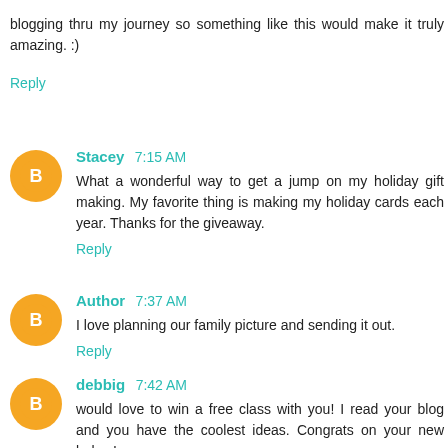blogging thru my journey so something like this would make it truly amazing. :)
Reply
Stacey 7:15 AM
What a wonderful way to get a jump on my holiday gift making. My favorite thing is making my holiday cards each year. Thanks for the giveaway.
Reply
Author 7:37 AM
I love planning our family picture and sending it out.
Reply
debbig 7:42 AM
would love to win a free class with you! I read your blog and you have the coolest ideas. Congrats on your new baby. I